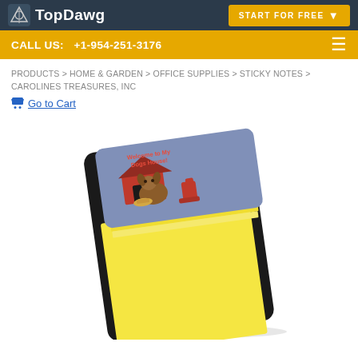TopDawg — START FOR FREE
CALL US: +1-954-251-3176
PRODUCTS > HOME & GARDEN > OFFICE SUPPLIES > STICKY NOTES > CAROLINES TREASURES, INC
Go to Cart
[Figure (photo): A sticky note pad with decorative dog house themed cover featuring a brown dog, red barn, and red fire hydrant on a blue background with yellow sticky notes fanned out below.]